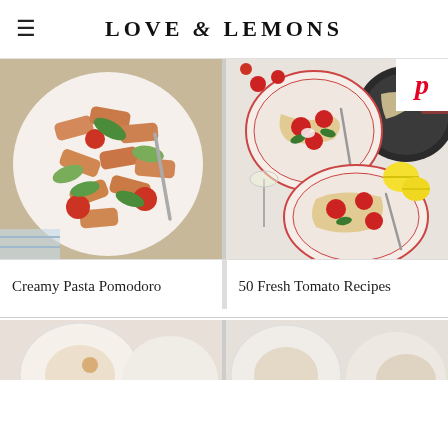LOVE & LEMONS
[Figure (photo): Overhead shot of rigatoni pasta with tomatoes, zucchini and arugula on a white plate]
[Figure (photo): Overhead shot of spaghetti with roasted tomatoes and basil on plates with lemons and a cast iron pan, with a Pinterest badge overlay]
Creamy Pasta Pomodoro
50 Fresh Tomato Recipes
[Figure (photo): Partial view of food photography, bottom left]
[Figure (photo): Partial view of food photography, bottom right]